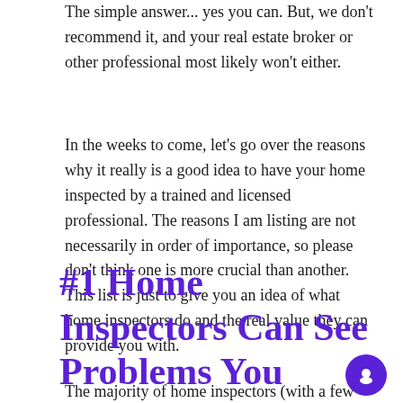The simple answer... yes you can. But, we don't recommend it, and your real estate broker or other professional most likely won't either.
In the weeks to come, let's go over the reasons why it really is a good idea to have your home inspected by a trained and licensed professional. The reasons I am listing are not necessarily in order of importance, so please don't think one is more crucial than another. This list is just to give you an idea of what home inspectors do and the real value they can provide you with.
#1 Home Inspectors Can See Problems You Can't
The majority of home inspectors (with a few